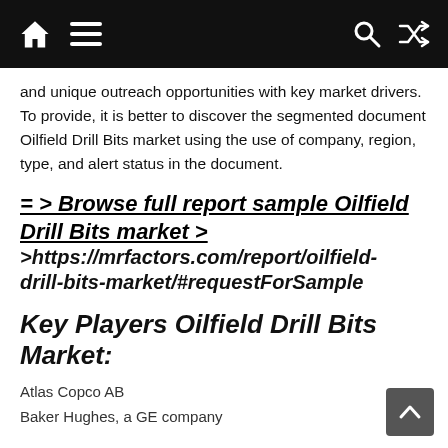Navigation bar with home, menu, search, and shuffle icons
and unique outreach opportunities with key market drivers. To provide, it is better to discover the segmented document Oilfield Drill Bits market using the use of company, region, type, and alert status in the document.
= > Browse full report sample Oilfield Drill Bits market > >https://mrfactors.com/report/oilfield-drill-bits-market/#requestForSample
Key Players Oilfield Drill Bits Market:
Atlas Copco AB
Baker Hughes, a GE company